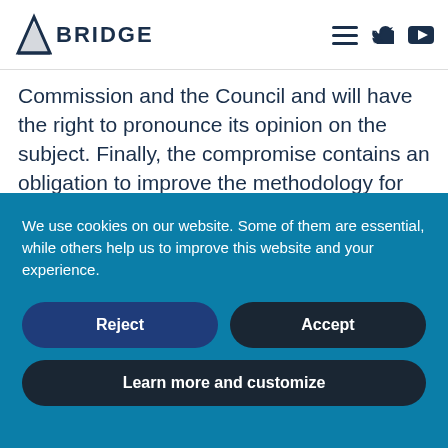BRIDGE
Commission and the Council and will have the right to pronounce its opinion on the subject. Finally, the compromise contains an obligation to improve the methodology for assessing budgetary expenses in order to ascertain that – in
We use cookies on our website. Some of them are essential, while others help us to improve this website and your experience.
Reject
Accept
Learn more and customize